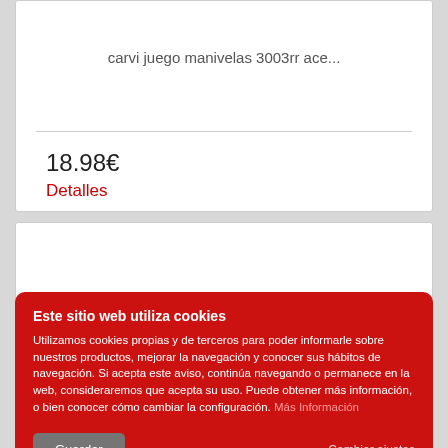carvi juego manivelas 3003rr ace...
18.98€
Detalles
Este sitio web utiliza cookies
Utilizamos cookies propias y de terceros para poder informarle sobre nuestros productos, mejorar la navegación y conocer sus hábitos de navegación. Si acepta este aviso, continúa navegando o permanece en la web, consideraremos que acepta su uso. Puede obtener más información, o bien conocer cómo cambiar la configuración. Más Información
Guardar
Cambiar ajustes